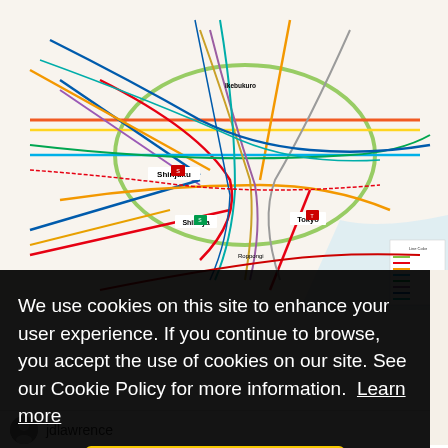[Figure (map): Tokyo metro/subway network map showing colored train lines, station names in Japanese and English, and interchange stations marked with numbered boxes. Map shows areas including Shibuya, Shinjuku, Harajuku, Tokyo, Roppongi, and many other stations across the network.]
We use cookies on this site to enhance your user experience. If you continue to browse, you accept the use of cookies on our site. See our Cookie Policy for more information. Learn more
Accept
jdlawrence